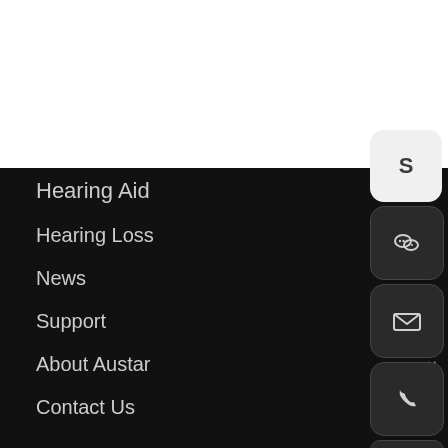Hearing Aid
Hearing Loss
News
Support
About Austar
Contact Us
[Figure (screenshot): Vertical sidebar with social contact icons: Skype, WeChat, Email, Phone, and a chat/minus button. Icons appear as rounded square buttons on the right edge of the page.]